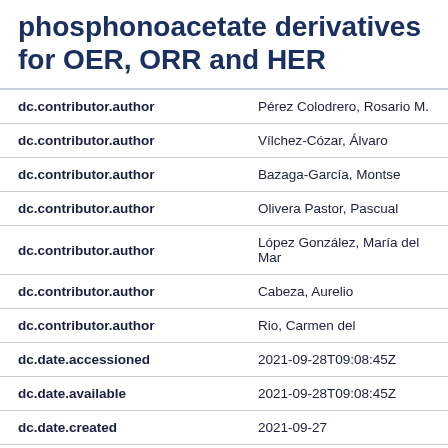phosphonoacetate derivatives for OER, ORR and HER
| Field | Value |
| --- | --- |
| dc.contributor.author | Pérez Colodrero, Rosario M. |
| dc.contributor.author | Vílchez-Cózar, Álvaro |
| dc.contributor.author | Bazaga-García, Montse |
| dc.contributor.author | Olivera Pastor, Pascual |
| dc.contributor.author | López González, María del Mar |
| dc.contributor.author | Cabeza, Aurelio |
| dc.contributor.author | Rio, Carmen del |
| dc.date.accessioned | 2021-09-28T09:08:45Z |
| dc.date.available | 2021-09-28T09:08:45Z |
| dc.date.created | 2021-09-27 |